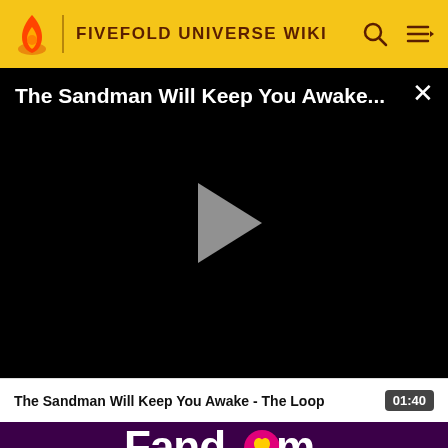FIVEFOLD UNIVERSE WIKI
[Figure (screenshot): Video player showing black screen with title 'The Sandman Will Keep You Awake...' and a gray play button in the center. An X close button is in the top right corner.]
The Sandman Will Keep You Awake - The Loop  01:40
[Figure (logo): Fandom logo in white text with a pink heart replacing the 'o' in Fandom, on a dark purple background]
EXPLORE PROPERTIES